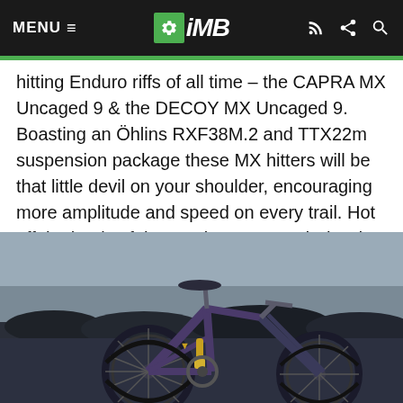MENU ☰  iMB
hitting Enduro riffs of all time – the CAPRA MX Uncaged 9 & the DECOY MX Uncaged 9. Boasting an Öhlins RXF38M.2 and TTX22m suspension package these MX hitters will be that little devil on your shoulder, encouraging more amplitude and speed on every trail. Hot off the heels of the previous LTD and Shred models these are unique concepts available now, however you won't have to wait much longer for the full metal CAPRA Core 2 experience.
[Figure (photo): A dark purple full-suspension mountain bike (YT Industries Capra) photographed outdoors against a blurred landscape background with scrubby vegetation and overcast sky. The bike is positioned facing right, showing the rear wheel, frame, and fork clearly.]
260